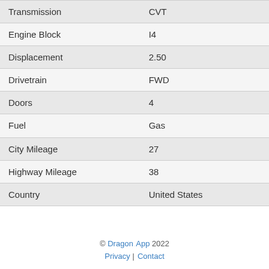| Transmission | CVT |
| Engine Block | I4 |
| Displacement | 2.50 |
| Drivetrain | FWD |
| Doors | 4 |
| Fuel | Gas |
| City Mileage | 27 |
| Highway Mileage | 38 |
| Country | United States |
© Dragon App 2022 Privacy | Contact